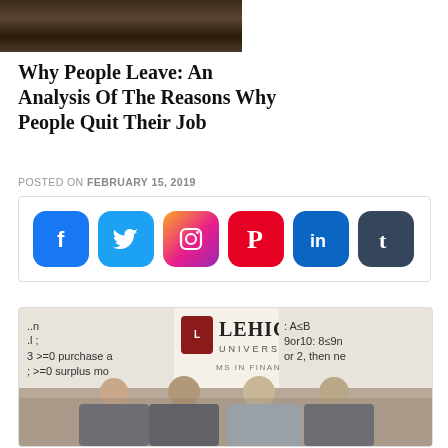[Figure (photo): Partial photo of a person, cropped at top of page]
Why People Leave: An Analysis Of The Reasons Why People Quit Their Job
POSTED ON FEBRUARY 15, 2019
[Figure (infographic): Social media sharing icons: Facebook, Twitter, Instagram, Pinterest, LinkedIn, Tumblr in a bordered box]
[Figure (photo): Lehigh University MS in Financial Engineering advertisement with students posing outdoors]